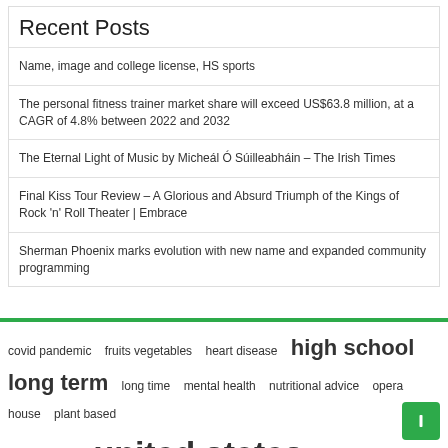Recent Posts
Name, image and college license, HS sports
The personal fitness trainer market share will exceed US$63.8 million, at a CAGR of 4.8% between 2022 and 2032
The Eternal Light of Music by Micheál Ó Súilleabháin – The Irish Times
Final Kiss Tour Review – A Glorious and Absurd Triumph of the Kings of Rock 'n' Roll Theater | Embrace
Sherman Phoenix marks evolution with new name and expanded community programming
covid pandemic  fruits vegetables  heart disease  high school  long term  long time  mental health  nutritional advice  opera house  plant based  press release  united states  vice president  weight loss  young people